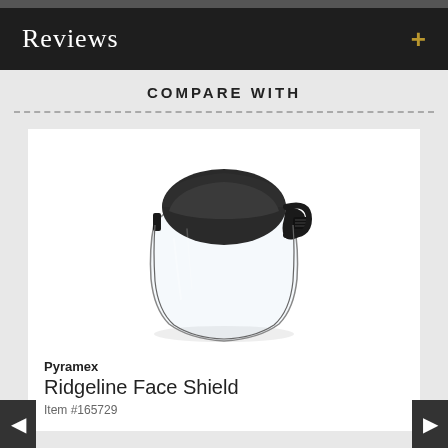Reviews
COMPARE WITH
[Figure (photo): Pyramex Ridgeline Face Shield product photo showing a dark brow guard with clear visor/face shield on a white background]
Pyramex
Ridgeline Face Shield
Item #165729